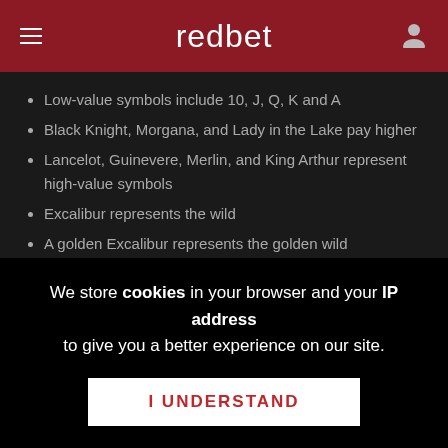redbet
Low-value symbols include 10, J, Q, K and A
Black Knight, Morgana, and Lady in the Lake pay higher
Lancelot, Guinevere, Merlin, and King Arthur represent high-value symbols
Excalibur represents the wild
A golden Excalibur represents the golden wild
The chalice represents the scatter symbol
EXCALIBUR BONUS, FREE SPINS & JACKPOT
The Excalibur slot wild symbol substitutes for all other symbols apart
We store cookies in your browser and your IP address to give you a better experience on our site.
I UNDERSTAND